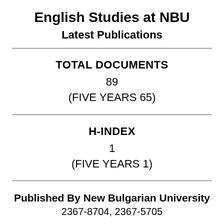English Studies at NBU
Latest Publications
TOTAL DOCUMENTS
89
(FIVE YEARS 65)
H-INDEX
1
(FIVE YEARS 1)
Published By New Bulgarian University
2367-8704, 2367-5705